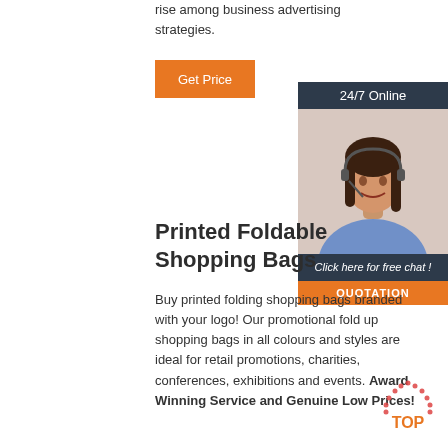rise among business advertising strategies.
Get Price
[Figure (illustration): 24/7 Online customer service representative banner with photo of woman wearing headset, 'Click here for free chat!' text, and QUOTATION button]
Printed Foldable Shopping Bags
Buy printed folding shopping bags branded with your logo! Our promotional fold up shopping bags in all colours and styles are ideal for retail promotions, charities, conferences, exhibitions and events. Award Winning Service and Genuine Low Prices!
[Figure (logo): TOP badge logo with dotted triangle and orange text]